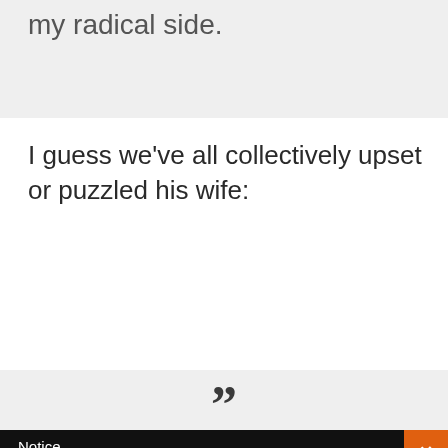my radical side.
I guess we've all collectively upset or puzzled his wife:
[Figure (other): Large closing quotation mark centered in a gray horizontal band]
Notice
We and selected third parties use cookies or similar technologies for technical purposes and, with your consent, for other purposes as specified in the cookie policy. Denying consent may make related features unavailable.
You can consent to the use of such technologies by closing this notice, by scrolling this page, by interacting with any link or button outside of this notice or by continuing to browse otherwise.